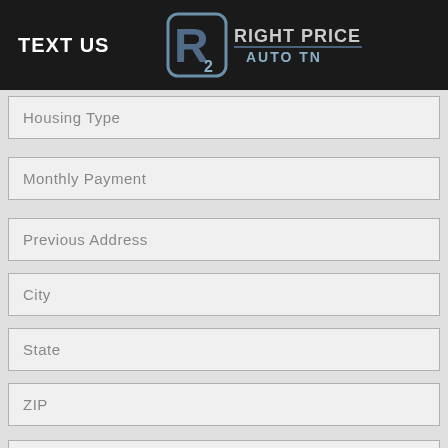TEXT US — Right Price Auto TN
Housing Type
Monthly Payment
Previous Address
City
State
ZIP
Years at this Address
Months